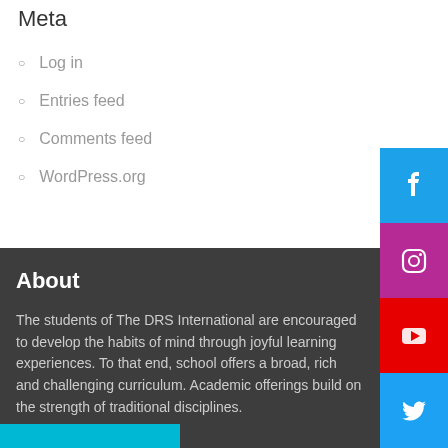Meta
Log in
Entries feed
Comments feed
WordPress.org
About
The students of The DRS International are encouraged to develop the habits of mind through joyful learning experiences. To that end, school offers a broad, rich and challenging curriculum. Academic offerings build on the strength of traditional disciplines.